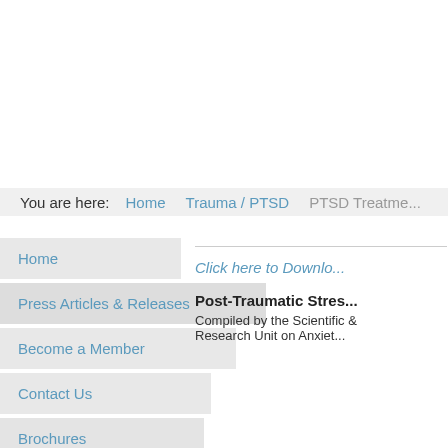You are here:  Home  Trauma / PTSD  PTSD Treatment
Home
Press Articles & Releases
Become a Member
Contact Us
Brochures
Infographics
Click here to Download
Post-Traumatic Stres
Compiled by the Scientific &
Research Unit on Anxiet